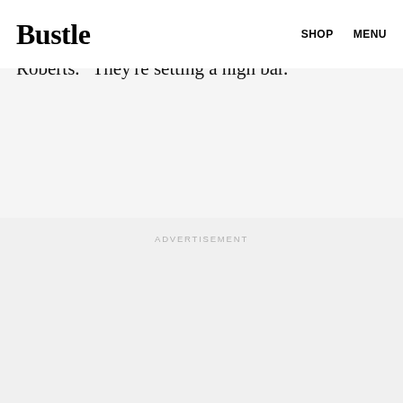Bustle  SHOP  MENU
things, not just in this country, but around the globe," Michelle told moderator Cokie Roberts. "They're setting a high bar."
ADVERTISEMENT